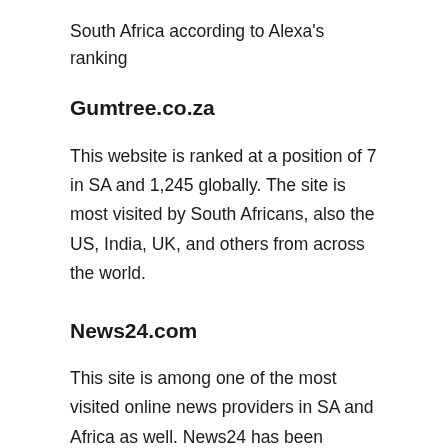South Africa according to Alexa's ranking
Gumtree.co.za
This website is ranked at a position of 7 in SA and 1,245 globally. The site is most visited by South Africans, also the US, India, UK, and others from across the world.
News24.com
This site is among one of the most visited online news providers in SA and Africa as well. News24 has been providing 24 hours of